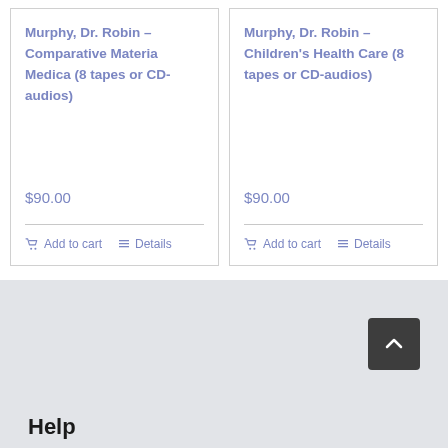Murphy, Dr. Robin – Comparative Materia Medica (8 tapes or CD-audios)
$90.00
Murphy, Dr. Robin – Children's Health Care (8 tapes or CD-audios)
$90.00
Help